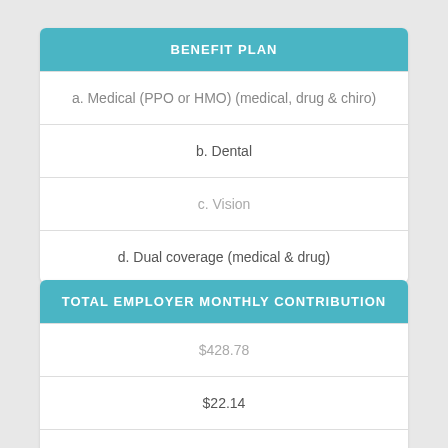| BENEFIT PLAN |
| --- |
| a. Medical (PPO or HMO) (medical, drug & chiro) |
| b. Dental |
| c. Vision |
| d. Dual coverage (medical & drug) |
| TOTAL EMPLOYER MONTHLY CONTRIBUTION |
| --- |
| $428.78 |
| $22.14 |
| $3.68 |
|  |